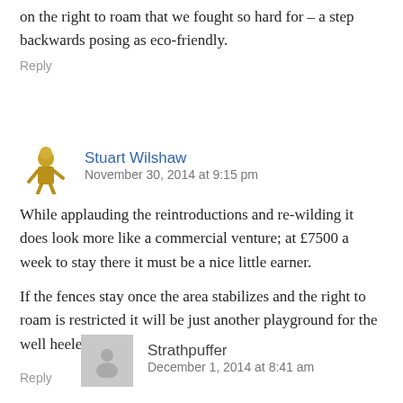on the right to roam that we fought so hard for – a step backwards posing as eco-friendly.
Reply
[Figure (illustration): Golden/brown illustrated avatar of a person]
Stuart Wilshaw
November 30, 2014 at 9:15 pm
While applauding the reintroductions and re-wilding it does look more like a commercial venture; at £7500 a week to stay there it must be a nice little earner.

If the fences stay once the area stabilizes and the right to roam is restricted it will be just another playground for the well heeled.
Reply
[Figure (illustration): Gray default avatar placeholder with person silhouette]
Strathpuffer
December 1, 2014 at 8:41 am